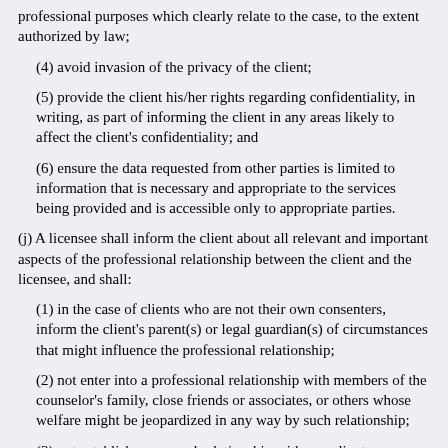professional purposes which clearly relate to the case, to the extent authorized by law;
(4) avoid invasion of the privacy of the client;
(5) provide the client his/her rights regarding confidentiality, in writing, as part of informing the client in any areas likely to affect the client's confidentiality; and
(6) ensure the data requested from other parties is limited to information that is necessary and appropriate to the services being provided and is accessible only to appropriate parties.
(j) A licensee shall inform the client about all relevant and important aspects of the professional relationship between the client and the licensee, and shall:
(1) in the case of clients who are not their own consenters, inform the client's parent(s) or legal guardian(s) of circumstances that might influence the professional relationship;
(2) not enter into a professional relationship with members of the counselor's family, close friends or associates, or others whose welfare might be jeopardized in any way by such relationship;
(3) not establish a personal relationship with any client